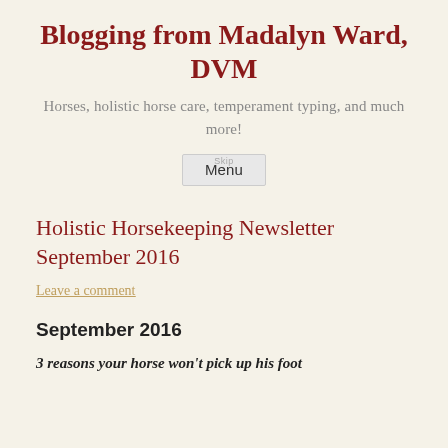Blogging from Madalyn Ward, DVM
Horses, holistic horse care, temperament typing, and much more!
Menu
Holistic Horsekeeping Newsletter September 2016
Leave a comment
September 2016
3 reasons your horse won't pick up his foot